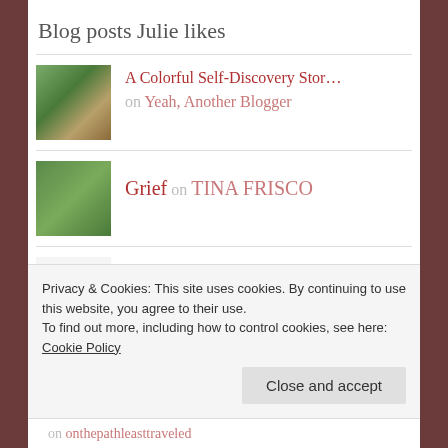Blog posts Julie likes
A Colorful Self-Discovery Stor… on Yeah, Another Blogger
Grief on TINA FRISCO
About on M.A
The Wind-Charmers of Brittany on Bonjour From Brittany
Privacy & Cookies: This site uses cookies. By continuing to use this website, you agree to their use. To find out more, including how to control cookies, see here: Cookie Policy
Close and accept
on onthepathleasttraveled